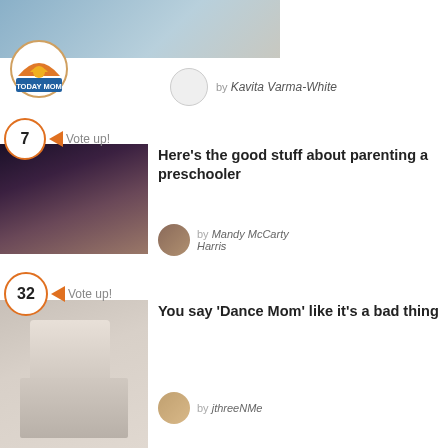[Figure (photo): Top photo of child in blue outfit, partially visible at top of page]
[Figure (logo): TODAY MOM badge/logo with orange sunrise graphic]
by Kavita Varma-White
7  Vote up!
[Figure (photo): Woman reading to child in dimly lit room]
Here's the good stuff about parenting a preschooler
by Mandy McCarty Harris
32  Vote up!
[Figure (photo): Young girl with trophy holding dance competition award]
You say 'Dance Mom' like it's a bad thing
by jthreeNMe